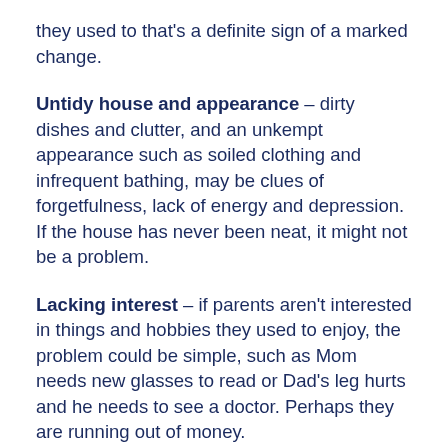they used to that's a definite sign of a marked change.
Untidy house and appearance – dirty dishes and clutter, and an unkempt appearance such as soiled clothing and infrequent bathing, may be clues of forgetfulness, lack of energy and depression. If the house has never been neat, it might not be a problem.
Lacking interest – if parents aren't interested in things and hobbies they used to enjoy, the problem could be simple, such as Mom needs new glasses to read or Dad's leg hurts and he needs to see a doctor. Perhaps they are running out of money.
Problems with mobility – bumping into furniture, trouble getting out of chairs and cars, and falling may indicate illness or vision problems. Side effects